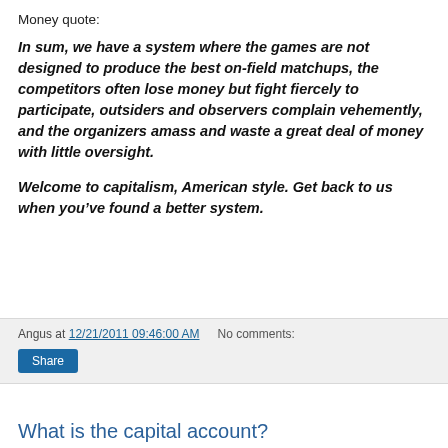Money quote:
In sum, we have a system where the games are not designed to produce the best on-field matchups, the competitors often lose money but fight fiercely to participate, outsiders and observers complain vehemently, and the organizers amass and waste a great deal of money with little oversight.
Welcome to capitalism, American style. Get back to us when you’ve found a better system.
Angus at 12/21/2011 09:46:00 AM   No comments:
Share
What is the capital account?